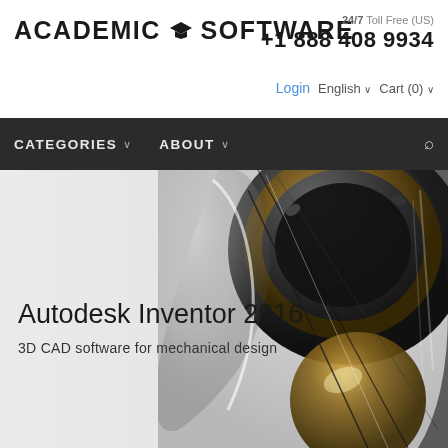ACADEMIC SOFTWARE
24/7 Toll Free (US)
+1 888 408 9934
Login   English ∨   Cart (0) ∨
CATEGORIES ∨   ABOUT ∨
[Figure (screenshot): Hero image showing a 3D rendered mechanical component (gears/metal parts) with dark metallic finish and reflective surfaces, used as background for Autodesk Inventor 2016 product page]
Autodesk Inventor 2016
3D CAD software for mechanical design